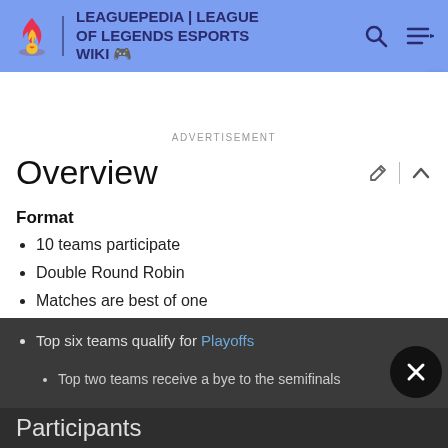LEAGUEPEDIA | LEAGUE OF LEGENDS ESPORTS WIKI
ADVERTISEMENT
Overview
Format
10 teams participate
Double Round Robin
Matches are best of one
Top six teams qualify for Playoffs
Top two teams receive a bye to the semifinals
Participants